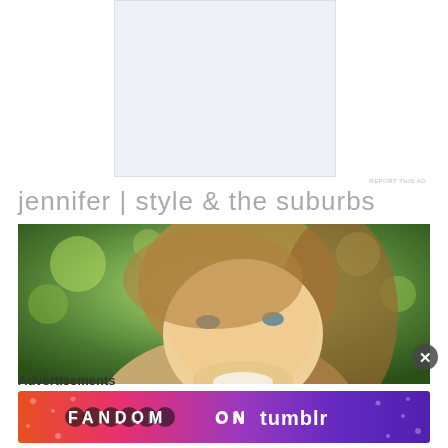[Figure (other): Advertisement placeholder block — light blue-gray rectangle]
REPORT THIS AD
jennifer | style & the suburbs
[Figure (photo): Close-up portrait of a smiling young woman with long brown hair looking upward, with green bokeh background]
Advertisements
[Figure (other): Fandom on Tumblr advertisement banner with colorful gradient background (orange to purple) and stylized bubble-letter text]